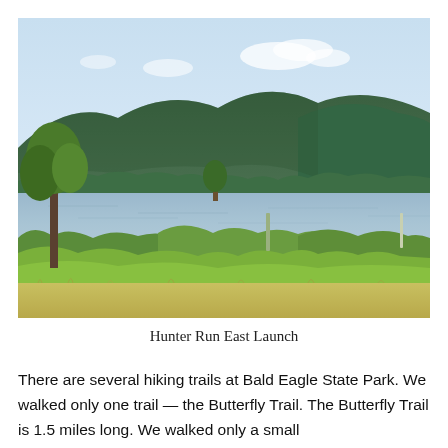[Figure (photo): Outdoor landscape photo showing a lake or river with calm water, lush green vegetation and shrubs in the foreground, trees along the bank, and forested hills/mountains in the background under a light blue sky with some white clouds. The scene is Bald Eagle State Park area near Hunter Run East Launch.]
Hunter Run East Launch
There are several hiking trails at Bald Eagle State Park.  We walked only one trail — the Butterfly Trail.  The Butterfly Trail is 1.5 miles long.  We walked only a small